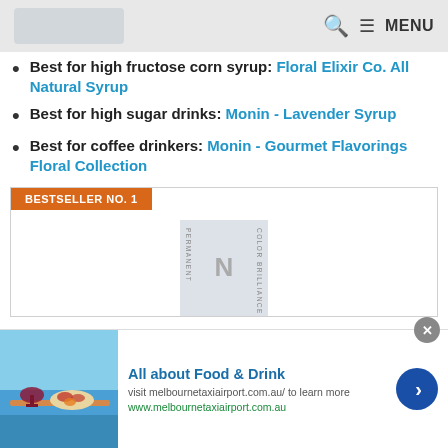MENU
Best for high fructose corn syrup: Floral Elixir Co. All Natural Syrup
Best for high sugar drinks: Monin - Lavender Syrup
Best for coffee drinkers: Monin - Gourmet Flavorings Floral Collection
[Figure (other): BESTSELLER NO. 1 product card showing ion color brilliance product bottles]
[Figure (infographic): Ad banner: All about Food & Drink, visit melbournetaxiairport.com.au to learn more, www.melbournetaxiairport.com.au]